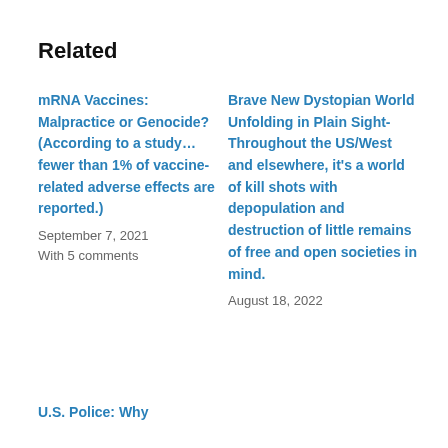Related
mRNA Vaccines: Malpractice or Genocide? (According to a study… fewer than 1% of vaccine-related adverse effects are reported.)
September 7, 2021
With 5 comments
Brave New Dystopian World Unfolding in Plain Sight- Throughout the US/West and elsewhere, it's a world of kill shots with depopulation and destruction of little remains of free and open societies in mind.
August 18, 2022
U.S. Police: Why